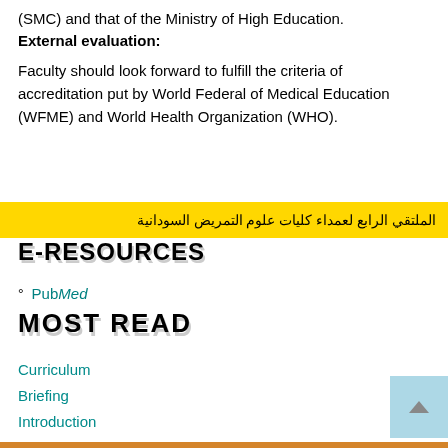(SMC) and that of the Ministry of High Education.
External evaluation:
Faculty should look forward to fulfill the criteria of accreditation put by World Federal of Medical Education (WFME) and World Health Organization (WHO).
الملتقي الرابع لعمداء كليات علوم التمريض السودانية
E-RESOURCES
PubMed
MOST READ
Curriculum
Briefing
Introduction
Courses Contents & Objectives
Contacts